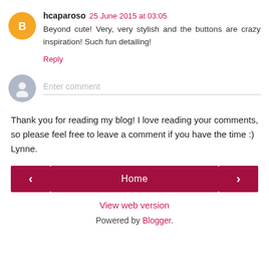hcaparoso 25 June 2015 at 03:05 — Beyond cute! Very, very stylish and the buttons are crazy inspiration! Such fun detailing!
Reply
Enter comment
Thank you for reading my blog! I love reading your comments, so please feel free to leave a comment if you have the time :) Lynne.
< Home >
View web version
Powered by Blogger.